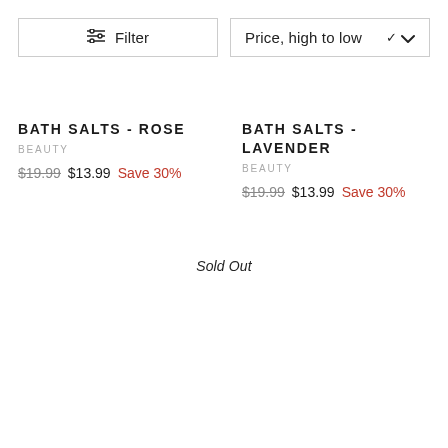Filter
Price, high to low
BATH SALTS - ROSE
BEAUTY
$19.99  $13.99  Save 30%
BATH SALTS - LAVENDER
BEAUTY
$19.99  $13.99  Save 30%
Sold Out